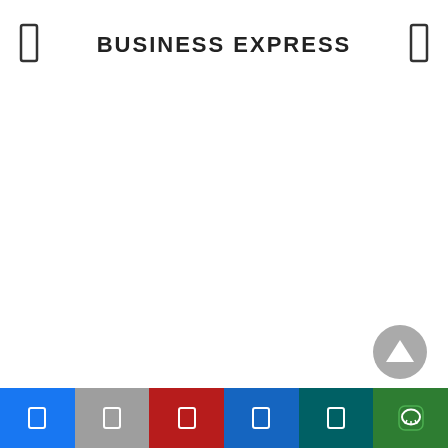BUSINESS EXPRESS
[Figure (screenshot): Scroll to top button — gray circle with upward triangle arrow]
[Figure (infographic): Bottom navigation bar with six colored sections: blue (Facebook icon), gray (share icon), red (icon), blue (bookmark icon), teal (icon), green (LINE icon)]